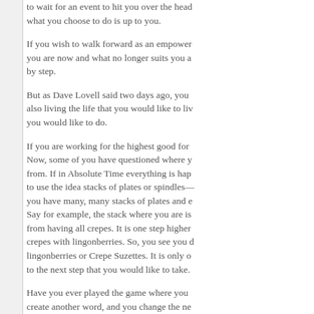to wait for an event to hit you over the head… what you choose to do is up to you.
If you wish to walk forward as an empowered… you are now and what no longer suits you a… by step.
But as Dave Lovell said two days ago, you… also living the life that you would like to li… you would like to do.
If you are working for the highest good for… Now, some of you have questioned where y… from. If in Absolute Time everything is hap… to use the idea stacks of plates or spindles—… you have many, many stacks of plates and e… Say for example, the stack where you are is… from having all crepes. It is one step higher… crepes with lingonberries. So, you see you d… lingonberries or Crepe Suzettes. It is only o… to the next step that you would like to take.
Have you ever played the game where you… create another word, and you change the ne… you have created a whole different word by… who have the capacity to imagine really…